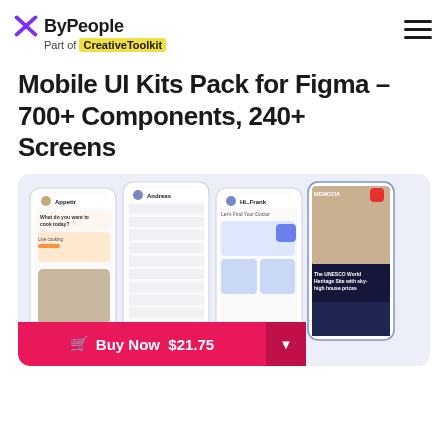ByPeople – Part of CreativeToolkit
Mobile UI Kits Pack for Figma – 700+ Components, 240+ Screens
[Figure (screenshot): Four mobile phone screens showing various app UI designs including a cooking app, messaging/social app, healthcare doctor finder app, and a news/media app with UNESCO World Heritage content. A Figma logo badge is visible in the lower left of the image.]
Buy Now $21.75